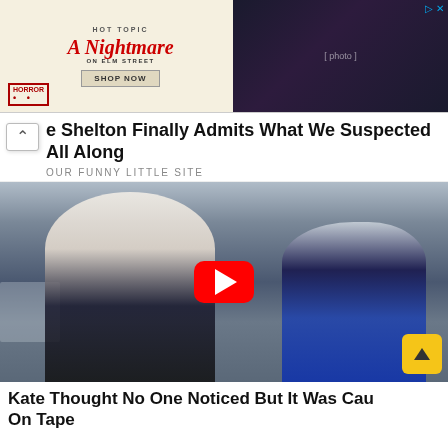[Figure (photo): Hot Topic advertisement banner for A Nightmare on Elm Street merchandise, featuring the movie title in red script, two models in dark clothing, and a 'Shop Now' button]
e Shelton Finally Admits What We Suspected All Along
OUR FUNNY LITTLE SITE
[Figure (photo): Photo of a woman in a dark top and blue skirt holding a young child who appears to be crying or upset, with a YouTube play button overlay in the center. A scroll-up arrow button appears at the bottom right.]
Kate Thought No One Noticed But It Was Cau On Tape